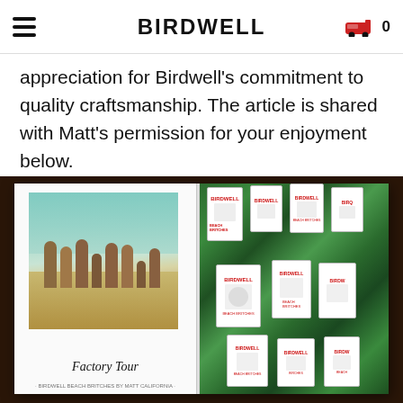≡  BIRDWELL  🚚 0
appreciation for Birdwell's commitment to quality craftsmanship. The article is shared with Matt's permission for your enjoyment below.
[Figure (photo): Open magazine spread showing a 'Factory Tour' feature. Left page: vintage photo of a group of people from behind wearing board shorts on a beach. Right page: green fabric board shorts on hangers with Birdwell hang tags.]